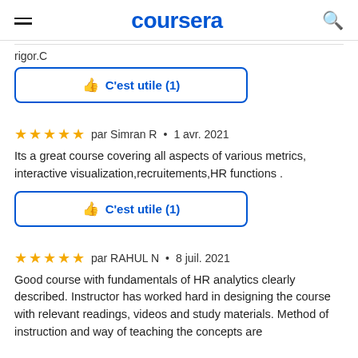coursera
rigor.C
C'est utile (1)
par Simran R • 1 avr. 2021
Its a great course covering all aspects of various metrics, interactive visualization,recruitements,HR functions .
C'est utile (1)
par RAHUL N • 8 juil. 2021
Good course with fundamentals of HR analytics clearly described. Instructor has worked hard in designing the course with relevant readings, videos and study materials. Method of instruction and way of teaching the concepts are